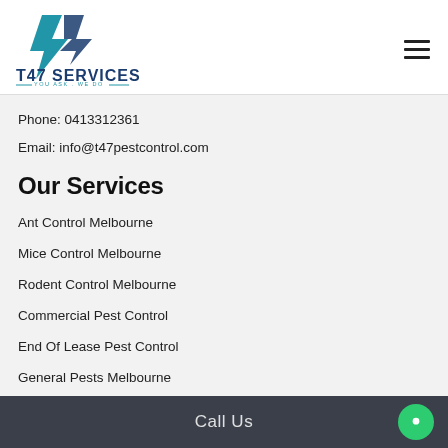[Figure (logo): T47 Services logo with stylized '47' mark and text 'T47 SERVICES — YOU ASK. WE DO —']
Phone: 0413312361
Email: info@t47pestcontrol.com
Our Services
Ant Control Melbourne
Mice Control Melbourne
Rodent Control Melbourne
Commercial Pest Control
End Of Lease Pest Control
General Pests Melbourne
Call Us